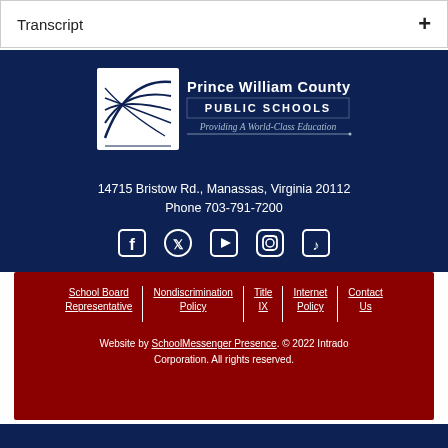Transcript +
[Figure (logo): Prince William County Public Schools logo – shield icon with globe design, text reads 'Prince William County PUBLIC SCHOOLS Providing A World-Class Education']
14715 Bristow Rd., Manassas, Virginia 20112
Phone 703-791-7200
[Figure (illustration): Social media icons: Facebook, Twitter, YouTube, Instagram, TikTok]
School Board Representative | Nondiscrimination Policy | Title IX | Internet Policy | Contact Us
Website by SchoolMessenger Presence. © 2022 Intrado Corporation. All rights reserved.